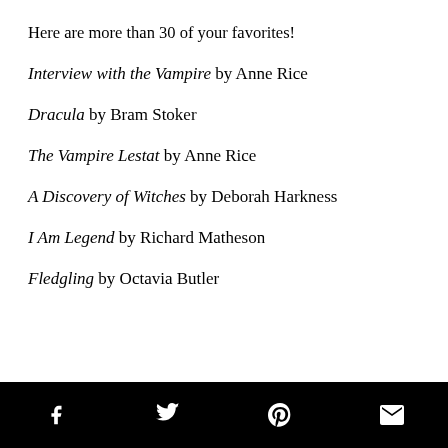Here are more than 30 of your favorites!
Interview with the Vampire by Anne Rice
Dracula by Bram Stoker
The Vampire Lestat by Anne Rice
A Discovery of Witches by Deborah Harkness
I Am Legend by Richard Matheson
Fledgling by Octavia Butler
Social share bar: Facebook, Twitter, Pinterest, Email